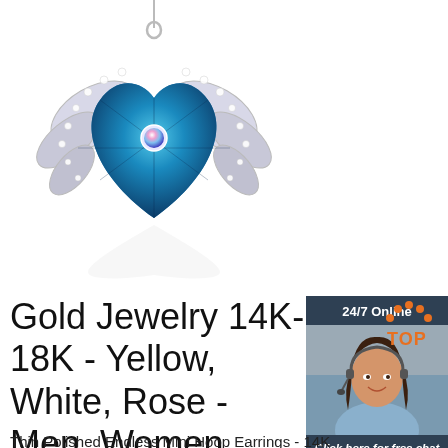[Figure (photo): Heart-shaped blue crystal angel wing pendant necklace on white background with reflection]
[Figure (photo): Sidebar advertisement: 24/7 Online customer service agent (woman with headset smiling), with 'Click here for free chat!' text and orange QUOTATION button]
Gold Jewelry 14K-18K - Yellow, White, Rose - Men, Women ...
Thin Polished Endless Mini Hoop Earrings - 14K
[Figure (logo): TOP badge logo - orange dots arranged in a circle above orange text 'TOP']